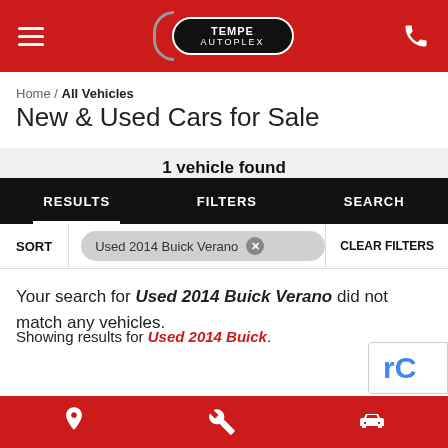Tempe Autoplex — navigation header with logo and phone icon
Home / All Vehicles
New & Used Cars for Sale
1 vehicle found
RESULTS   FILTERS   SEARCH
SORT   Used 2014 Buick Verano ×   CLEAR FILTERS
Your search for Used 2014 Buick Verano did not match any vehicles.
Showing results for Used 2014 Buick.
Location, wrench/service, car icons footer